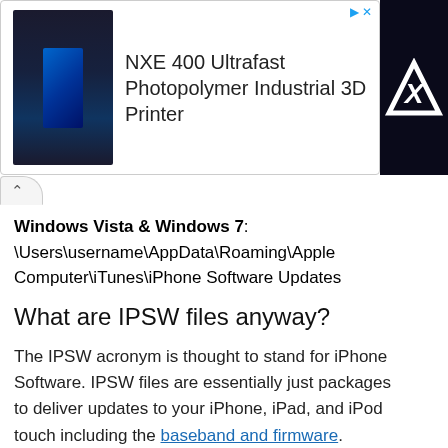[Figure (screenshot): Advertisement banner for NXE 400 Ultrafast Photopolymer Industrial 3D Printer with product image on left and text on right]
[Figure (logo): Side advertisement showing a stylized blue X logo on black background]
Windows Vista & Windows 7: \Users\username\AppData\Roaming\Apple Computer\iTunes\iPhone Software Updates
What are IPSW files anyway?
The IPSW acronym is thought to stand for iPhone Software. IPSW files are essentially just packages to deliver updates to your iPhone, iPad, and iPod touch including the baseband and firmware. Anytime you update your device iTunes will grab a new IPSW from Apple's servers. People are generally concerned with IPSW files for either exploration into the workings of iOS and the iPhone, or for jailbreaking and unlocking